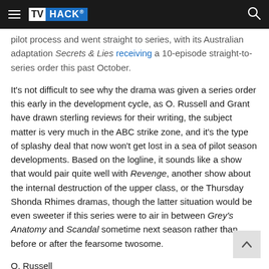TVHACK
pilot process and went straight to series, with its Australian adaptation Secrets & Lies receiving a 10-episode straight-to-series order this past October.
It's not difficult to see why the drama was given a series order this early in the development cycle, as O. Russell and Grant have drawn sterling reviews for their writing, the subject matter is very much in the ABC strike zone, and it's the type of splashy deal that now won't get lost in a sea of pilot season developments. Based on the logline, it sounds like a show that would pair quite well with Revenge, another show about the internal destruction of the upper class, or the Thursday Shonda Rhimes dramas, though the latter situation would be even sweeter if this series were to air in between Grey's Anatomy and Scandal sometime next season rather than before or after the fearsome twosome.
O. Russell